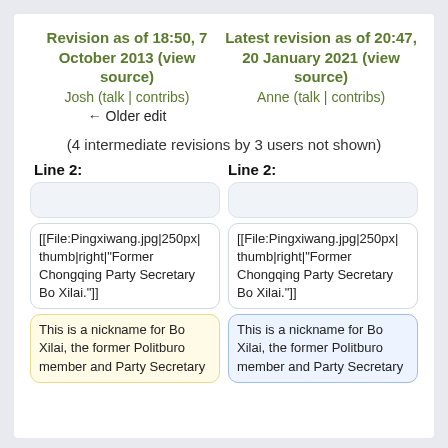Revision as of 18:50, 7 October 2013 (view source)
Josh (talk | contribs)
← Older edit
Latest revision as of 20:47, 20 January 2021 (view source)
Anne (talk | contribs)
(4 intermediate revisions by 3 users not shown)
Line 2:
Line 2:
[[File:Pingxiwang.jpg|250px|thumb|right|"Former Chongqing Party Secretary Bo Xilai."]]
[[File:Pingxiwang.jpg|250px|thumb|right|"Former Chongqing Party Secretary Bo Xilai."]]
This is a nickname for Bo Xilai, the former Politburo member and Party Secretary
This is a nickname for Bo Xilai, the former Politburo member and Party Secretary